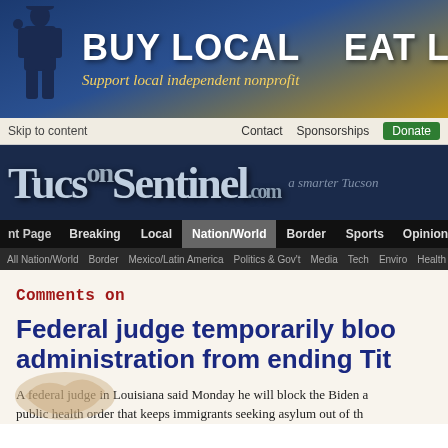[Figure (illustration): Website banner with dark blue and gold gradient background, figure of man in suit, text BUY LOCAL EAT LOCAL and Support local independent nonprofit]
Skip to content   Contact   Sponsorships   Donate
[Figure (logo): TucsonSentinel.com logo in old-style serif font on dark blue background with tagline 'a smarter Tucson']
nt Page   Breaking   Local   Nation/World   Border   Sports   Opinion
All Nation/World   Border   Mexico/Latin America   Politics & Gov't   Media   Tech   Enviro   Health
Comments on
Federal judge temporarily bloo administration from ending Tit
A federal judge in Louisiana said Monday he will block the Biden a public health order that keeps immigrants seeking asylum out of th